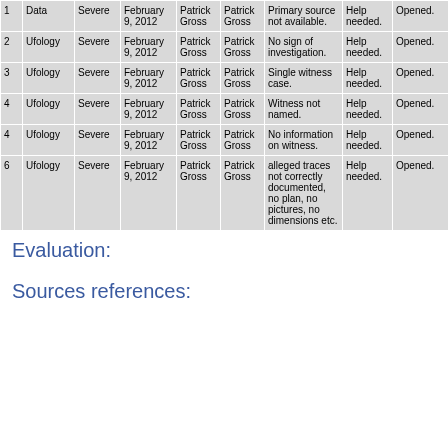| 1 | Data | Severe | February 9, 2012 | Patrick Gross | Patrick Gross | Primary source not available. | Help needed. | Opened. |
| 2 | Ufology | Severe | February 9, 2012 | Patrick Gross | Patrick Gross | No sign of investigation. | Help needed. | Opened. |
| 3 | Ufology | Severe | February 9, 2012 | Patrick Gross | Patrick Gross | Single witness case. | Help needed. | Opened. |
| 4 | Ufology | Severe | February 9, 2012 | Patrick Gross | Patrick Gross | Witness not named. | Help needed. | Opened. |
| 4 | Ufology | Severe | February 9, 2012 | Patrick Gross | Patrick Gross | No information on witness. | Help needed. | Opened. |
| 6 | Ufology | Severe | February 9, 2012 | Patrick Gross | Patrick Gross | alleged traces not correctly documented, no plan, no pictures, no dimensions etc. | Help needed. | Opened. |
Evaluation:
Sources references: